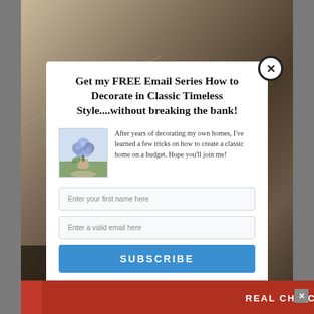[Figure (screenshot): Website popup modal over a blurred interior room photo background. Modal contains email subscription form with title, descriptive text with decorative image, two input fields, subscribe button, and privacy note.]
Get my FREE Email Series How to Decorate in Classic Timeless Style....without breaking the bank!
After years of decorating my own homes, I've learned a few tricks on how to create a classic home on a budget. Hope you'll join me!
Enter your first name here
Enter a valid email here
SUBSCRIBE
Your information will *never* be shared or sold to a 3rd party.